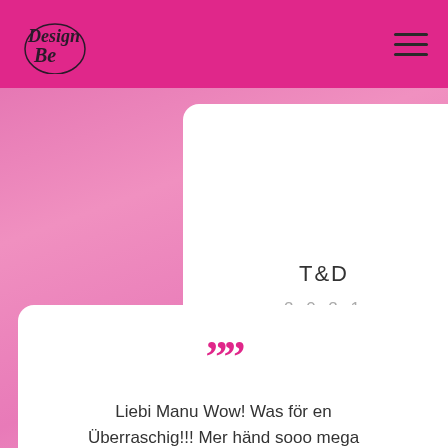Design Be — navigation header with logo and hamburger menu
T&D
2021
“” Liebi Manu Wow! Was för en Überraschig!!! Mer händ sooo mega
Testimonial card with quote marks